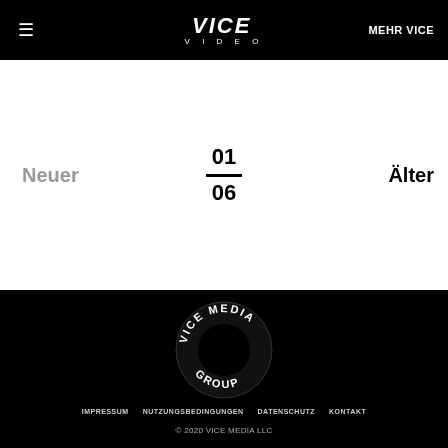VICE VIDEO | MEHR VICE
Neuer
01 — 06
Älter
[Figure (logo): Vice Media Group circular logo in white on black background]
IMPRESSUM · NUTZUNGSBEDINGUNGEN · DATENSCHUTZ · KONTAKT · © 2020 VICE MEDIA LLC